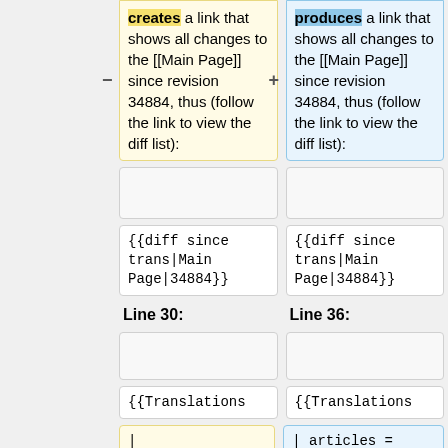creates a link that shows all changes to the [[Main Page]] since revision 34884, thus (follow the link to view the diff list):
produces a link that shows all changes to the [[Main Page]] since revision 34884, thus (follow the link to view the diff list):
{{diff since trans|Main Page|34884}}
{{diff since trans|Main Page|34884}}
Line 30:
Line 36:
{{Translations
{{Translations
| articles=Template:Pt:Diferenças
| articles = Template:Pt:Diferenças desde a